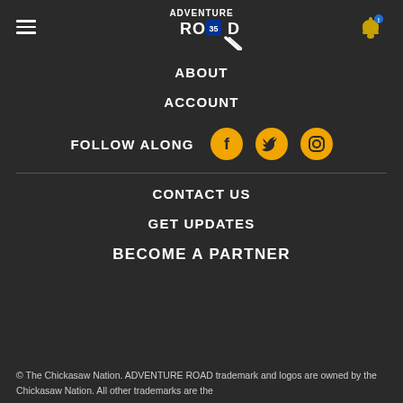Adventure Road logo, hamburger menu, notification bell
ABOUT
ACCOUNT
FOLLOW ALONG
CONTACT US
GET UPDATES
BECOME A PARTNER
© The Chickasaw Nation. ADVENTURE ROAD trademark and logos are owned by the Chickasaw Nation. All other trademarks are the